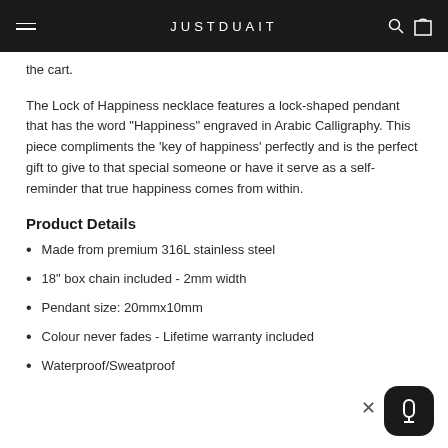JUSTDUAIT
the cart.
The Lock of Happiness necklace features a lock-shaped pendant that has the word "Happiness" engraved in Arabic Calligraphy. This piece compliments the 'key of happiness' perfectly and is the perfect gift to give to that special someone or have it serve as a self-reminder that true happiness comes from within.
Product Details
Made from premium 316L stainless steel
18" box chain included - 2mm width
Pendant size: 20mmx10mm
Colour never fades - Lifetime warranty included
Waterproof/Sweatproof